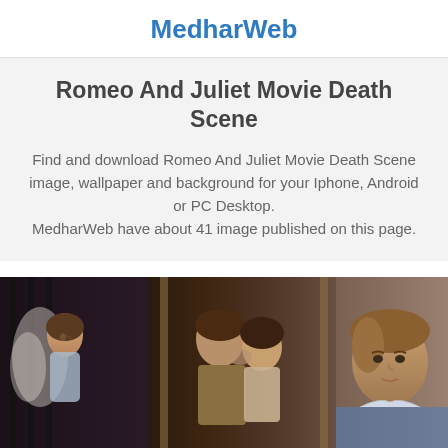MedharWeb
Romeo And Juliet Movie Death Scene
Find and download Romeo And Juliet Movie Death Scene image, wallpaper and background for your Iphone, Android or PC Desktop.
MedharWeb have about 41 image published on this page.
[Figure (photo): Collage of Romeo and Juliet movie stills showing a woman with angel wings, a couple kissing, and a young man (Leonardo DiCaprio) in a blue jacket.]